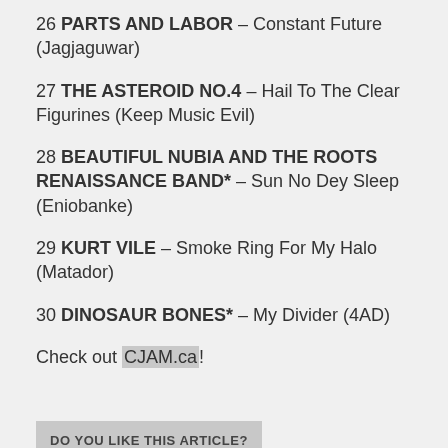26 PARTS AND LABOR – Constant Future (Jagjaguwar)
27 THE ASTEROID NO.4 – Hail To The Clear Figurines (Keep Music Evil)
28 BEAUTIFUL NUBIA AND THE ROOTS RENAISSANCE BAND* – Sun No Dey Sleep (Eniobanke)
29 KURT VILE – Smoke Ring For My Halo (Matador)
30 DINOSAUR BONES* – My Divider (4AD)
Check out CJAM.ca!
DO YOU LIKE THIS ARTICLE?